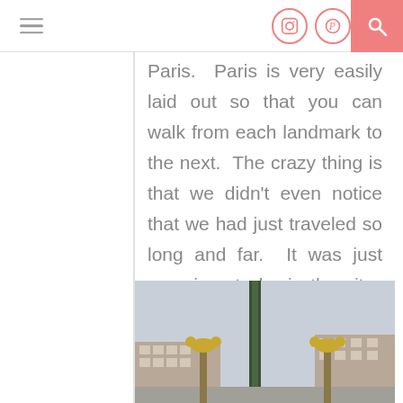[navigation bar with hamburger menu, Instagram icon, Pinterest icon, search button]
Paris.  Paris is very easily laid out so that you can walk from each landmark to the next.  The crazy thing is that we didn't even notice that we had just traveled so long and far.  It was just amazing  to be in the city.  We had so much fun taking it all in.  We found the Seine River and followed that.  It was so pretty.
[Figure (photo): Photo of Place de la Concorde or similar Parisian square, showing ornate lamp posts, a tall column or obelisk, and classical Parisian buildings under an overcast sky.]